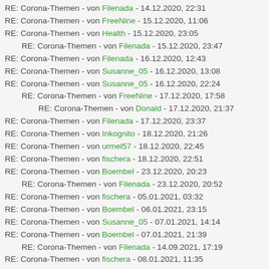RE: Corona-Themen - von Filenada - 14.12.2020, 22:31
RE: Corona-Themen - von FreeNine - 15.12.2020, 11:06
RE: Corona-Themen - von Health - 15.12.2020, 23:05
RE: Corona-Themen - von Filenada - 15.12.2020, 23:47
RE: Corona-Themen - von Filenada - 16.12.2020, 12:43
RE: Corona-Themen - von Susanne_05 - 16.12.2020, 13:08
RE: Corona-Themen - von Susanne_05 - 16.12.2020, 22:24
RE: Corona-Themen - von FreeNine - 17.12.2020, 17:58
RE: Corona-Themen - von Donald - 17.12.2020, 21:37
RE: Corona-Themen - von Filenada - 17.12.2020, 23:37
RE: Corona-Themen - von Inkognito - 18.12.2020, 21:26
RE: Corona-Themen - von urmel57 - 18.12.2020, 22:45
RE: Corona-Themen - von fischera - 18.12.2020, 22:51
RE: Corona-Themen - von Boembel - 23.12.2020, 20:23
RE: Corona-Themen - von Filenada - 23.12.2020, 20:52
RE: Corona-Themen - von fischera - 05.01.2021, 03:32
RE: Corona-Themen - von Boembel - 06.01.2021, 23:15
RE: Corona-Themen - von Susanne_05 - 07.01.2021, 14:14
RE: Corona-Themen - von Boembel - 07.01.2021, 21:39
RE: Corona-Themen - von Filenada - 14.09.2021, 17:19
RE: Corona-Themen - von fischera - 08.01.2021, 11:35
RE: Corona-Themen - von Donald - 08.01.2021, 15:45
RE: Corona-Themen - von Boembel - 08.01.2021, 21:10
RE: Corona-Themen - von fischera - 08.01.2021, 12:57